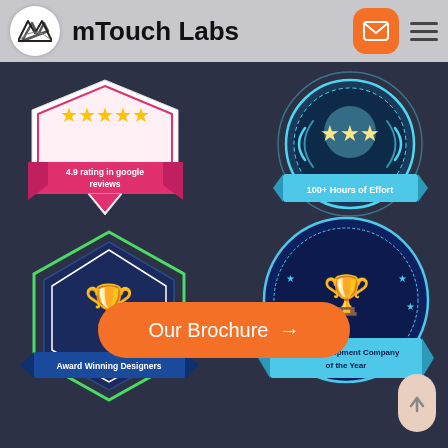mTouch Labs
[Figure (logo): mTouch Labs logo with M icon in circle and brand name, plus envelope and hamburger menu icons in header]
[Figure (infographic): Four award badges: top-left pink ribbon badge with '4.9 rating in google reviews'; top-right blue circular badge with '100+ Hours of Effort'; mid-left green hexagon badge with trophy and 'Award Winning Designers'; mid-right blue circular badge with trophy and 'App Development Company of the Year']
Our Brochure →